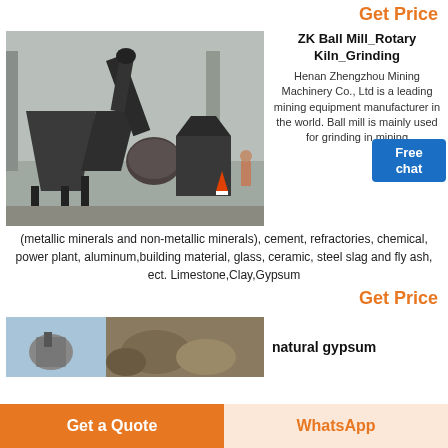Get Price
[Figure (photo): Industrial ball mill / grinding equipment in a factory setting, dark grey metal machinery]
ZK Ball Mill_Rotary Kiln_Grinding
Henan Zhengzhou Mining Machinery Co., Ltd is a leading mining equipment manufacturer in the world. Ball mill is mainly used for grinding in mining
(metallic minerals and non-metallic minerals), cement, refractories, chemical, power plant, aluminum,building material, glass, ceramic, steel slag and fly ash, ect. Limestone,Clay,Gypsum
Get Price
[Figure (photo): Natural gypsum rocks/stones, partial view]
natural gypsum
Get a Quote
WhatsApp